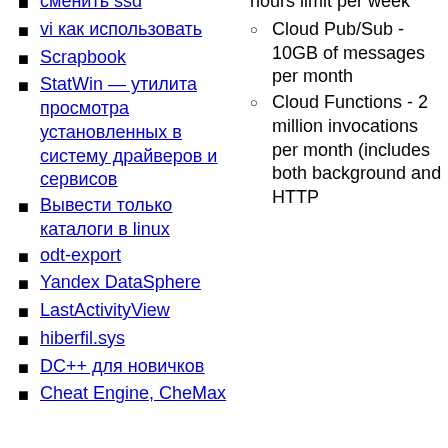сменить ssd
vi как использовать
Scrapbook
StatWin — утилита просмотра установленных в систему драйверов и сервисов
Вывести только каталоги в linux
odt-export
Yandex DataSphere
LastActivityView
hiberfil.sys
DC++ для новичков
Cheat Engine, CheMax
hours limit per week
Cloud Pub/Sub - 10GB of messages per month
Cloud Functions - 2 million invocations per month (includes both background and HTTP